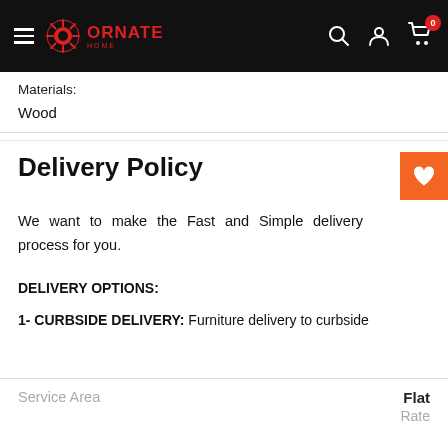Ornate Home navigation bar
Materials:
Wood
Delivery Policy
We want to make the Fast and Simple delivery process for you.
DELIVERY OPTIONS:
1- CURBSIDE DELIVERY: Furniture delivery to curbside
| Service Area | Flat Rate |
| --- | --- |